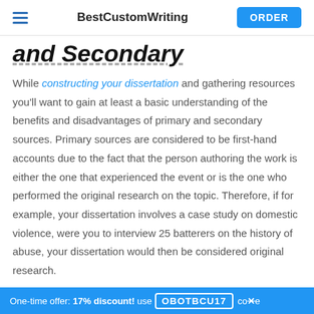BestCustomWriting ORDER
…and Secondary
While constructing your dissertation and gathering resources you'll want to gain at least a basic understanding of the benefits and disadvantages of primary and secondary sources. Primary sources are considered to be first-hand accounts due to the fact that the person authoring the work is either the one that experienced the event or is the one who performed the original research on the topic. Therefore, if for example, your dissertation involves a case study on domestic violence, were you to interview 25 batterers on the history of abuse, your dissertation would then be considered original research.
One-time offer: 17% discount! use OBOTBCU17 co✕e